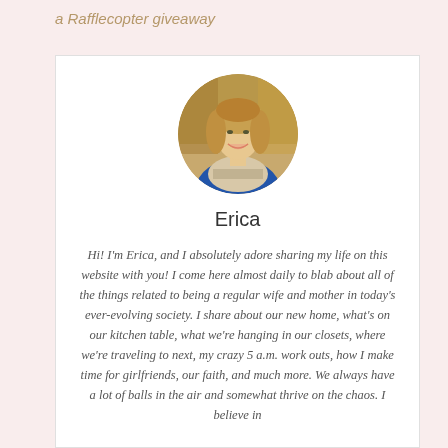a Rafflecopter giveaway
[Figure (photo): Circular profile photo of a smiling woman with wavy blonde-brown hair wearing a blue top and plaid scarf, photographed outdoors with blurred autumn background]
Erica
Hi! I'm Erica, and I absolutely adore sharing my life on this website with you! I come here almost daily to blab about all of the things related to being a regular wife and mother in today's ever-evolving society. I share about our new home, what's on our kitchen table, what we're hanging in our closets, where we're traveling to next, my crazy 5 a.m. work outs, how I make time for girlfriends, our faith, and much more. We always have a lot of balls in the air and somewhat thrive on the chaos. I believe in